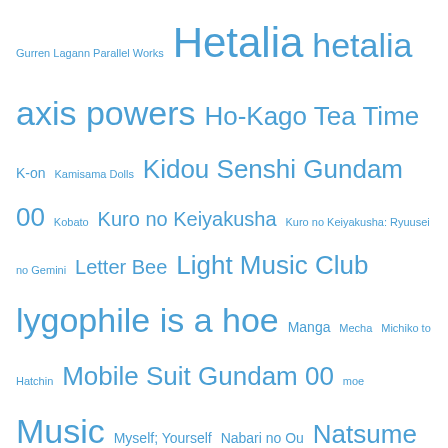Gurren Lagann Parallel Works Hetalia hetalia axis powers Ho-Kago Tea Time K-on Kamisama Dolls Kidou Senshi Gundam 00 Kobato Kuro no Keiyakusha Kuro no Keiyakusha: Ryuusei no Gemini Letter Bee Light Music Club lygophile is a hoe Manga Mecha Michiko to Hatchin Mobile Suit Gundam 00 moe Music Myself; Yourself Nabari no Ou Natsume Yuujinchou Nodame Cantabile Noitamina Nyan Koi ookamikakushi OP Pandora Hearts Preview Production I.G. PV Random Review romance Romeo x Juliet season preview Sekirei shangri-la Sora no Manimani Spice and Wolf sport Suzumiya Haruhi Tegami Bachi The Melancholy of Suzumiya Haruhi
Blog Archive
November 2018
October 2018
July 2015